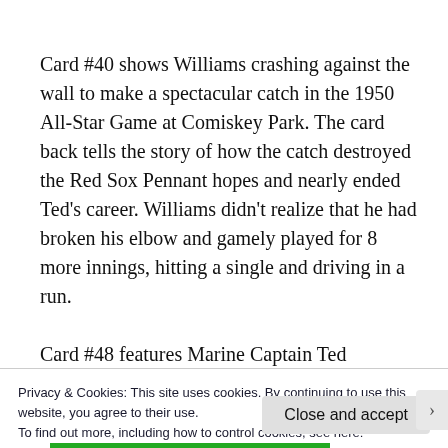Card #40 shows Williams crashing against the wall to make a spectacular catch in the 1950 All-Star Game at Comiskey Park. The card back tells the story of how the catch destroyed the Red Sox Pennant hopes and nearly ended Ted's career. Williams didn't realize that he had broken his elbow and gamely played for 8 more innings, hitting a single and driving in a run.
Card #48 features Marine Captain Ted Williams
Privacy & Cookies: This site uses cookies. By continuing to use this website, you agree to their use.
To find out more, including how to control cookies, see here:
Cookie Policy